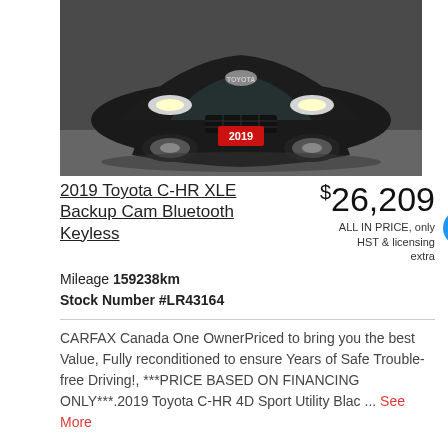[Figure (photo): Front view of a black 2019 Toyota C-HR SUV with a red 2019 license plate, photographed indoors in a garage setting]
2019 Toyota C-HR XLE Backup Cam Bluetooth Keyless
$26,209
ALL IN PRICE, only HST & licensing extra
Mileage 159238km
Stock Number #LR43164
CARFAX Canada One OwnerPriced to bring you the best Value, Fully reconditioned to ensure Years of Safe Trouble-free Driving!, ***PRICE BASED ON FINANCING ONLY***.2019 Toyota C-HR 4D Sport Utility Blac ... See More